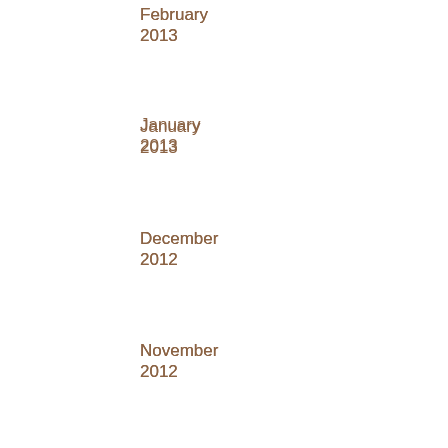February 2013
January 2013
December 2012
November 2012
October 2012
September 2012
August 2012
July 2012
June 2012
May 2012
April 2012
March 2012